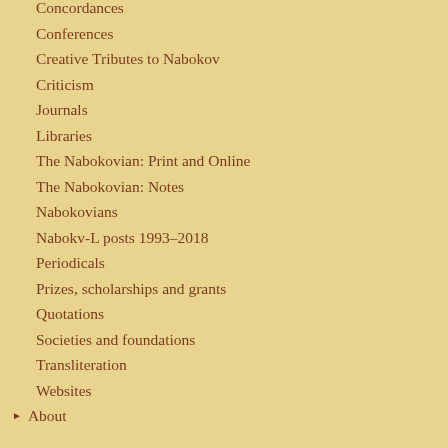Concordances
Conferences
Creative Tributes to Nabokov
Criticism
Journals
Libraries
The Nabokovian: Print and Online
The Nabokovian: Notes
Nabokovians
Nabokv-L posts 1993–2018
Periodicals
Prizes, scholarships and grants
Quotations
Societies and foundations
Transliteration
Websites
▶ About
About Derp...